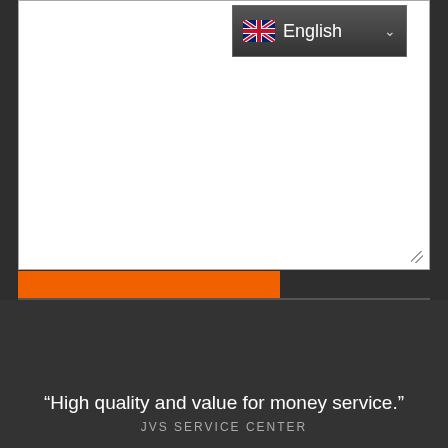[Figure (screenshot): A white textarea input box with an English language dropdown selector in the top-right corner showing a UK flag and the word 'English' with a dropdown arrow, and a resize handle in the bottom-right corner.]
[Figure (screenshot): An orange Submit button with bold dark text on a dark background.]
“High quality and value for money service.”
JVS SERVICE CENTER